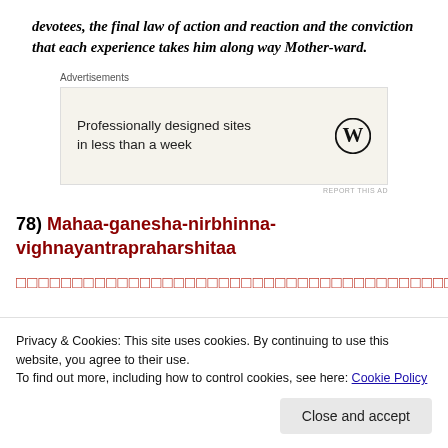devotees, the final law of action and reaction and the conviction that each experience takes him along way Mother-ward.
[Figure (other): WordPress advertisement banner: 'Professionally designed sites in less than a week' with WordPress logo]
78) Mahaa-ganesha-nirbhinna-vighnayantrapraharshitaa
[Devanagari script text in red]
Privacy & Cookies: This site uses cookies. By continuing to use this website, you agree to their use.
To find out more, including how to control cookies, see here: Cookie Policy